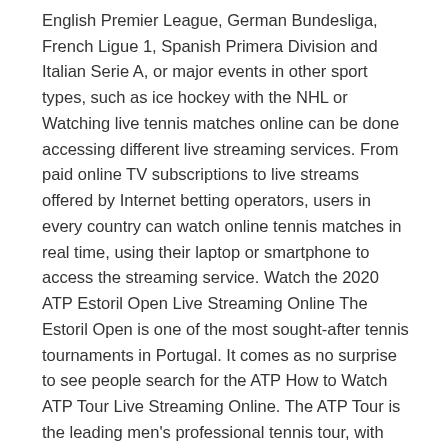English Premier League, German Bundesliga, French Ligue 1, Spanish Primera Division and Italian Serie A, or major events in other sport types, such as ice hockey with the NHL or Watching live tennis matches online can be done accessing different live streaming services. From paid online TV subscriptions to live streams offered by Internet betting operators, users in every country can watch online tennis matches in real time, using their laptop or smartphone to access the streaming service. Watch the 2020 ATP Estoril Open Live Streaming Online The Estoril Open is one of the most sought-after tennis tournaments in Portugal. It comes as no surprise to see people search for the ATP How to Watch ATP Tour Live Streaming Online. The ATP Tour is the leading men's professional tennis tour, with events taking place on a weekly basis and there are several ways in which you can enjoy live streaming of these events which is a great way to enjoy the action. You can create an account with Tennis TV – the official live streaming partner of the ATP World Tour – and